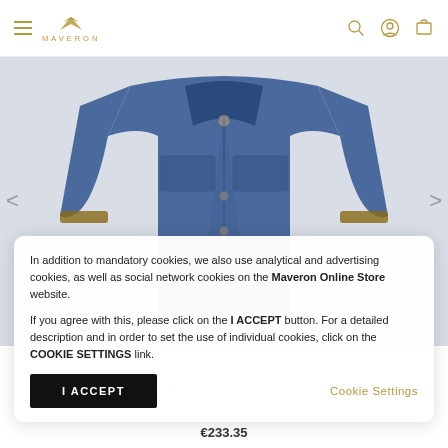[Figure (screenshot): Maveron online store header with hamburger menu, logo, search, account, and cart icons]
[Figure (photo): Blue men's cotton jacket product photo]
In addition to mandatory cookies, we also use analytical and advertising cookies, as well as social network cookies on the Maveron Online Store website.

If you agree with this, please click on the I ACCEPT button. For a detailed description and in order to set the use of individual cookies, click on the COOKIE SETTINGS link.
I ACCEPT
Cookie Settings
TTEN MAN JACKET COTTONMAN
€233.35